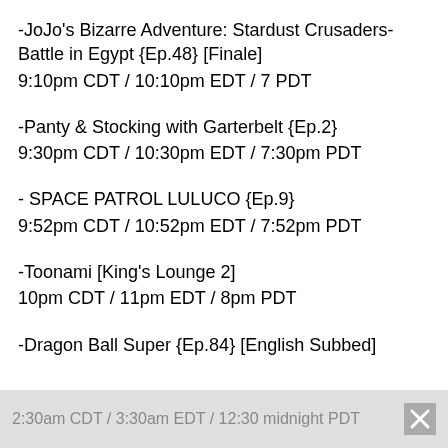-JoJo's Bizarre Adventure: Stardust Crusaders- Battle in Egypt {Ep.48} [Finale]
9:10pm CDT / 10:10pm EDT / 7 PDT
-Panty & Stocking with Garterbelt {Ep.2}
9:30pm CDT / 10:30pm EDT / 7:30pm PDT
- SPACE PATROL LULUCO {Ep.9}
9:52pm CDT / 10:52pm EDT / 7:52pm PDT
-Toonami [King's Lounge 2]
10pm CDT / 11pm EDT / 8pm PDT
-Dragon Ball Super {Ep.84} [English Subbed]
2:30am CDT / 3:30am EDT / 12:30 midnight PDT